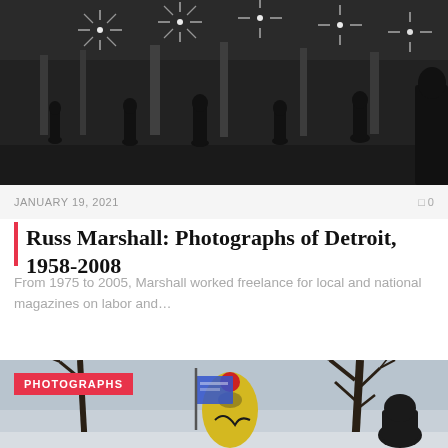[Figure (photo): Black and white photograph of people gathered at night under bright star-shaped lights, silhouettes visible against illuminated background]
JANUARY 19, 2021
0
Russ Marshall: Photographs of Detroit, 1958-2008
From 1975 to 2005, Marshall worked freelance for local and national magazines on labor and...
[Figure (photo): Outdoor winter photograph showing a person wrapped in a yellow garment holding a blue flag, bare trees in background, overcast sky]